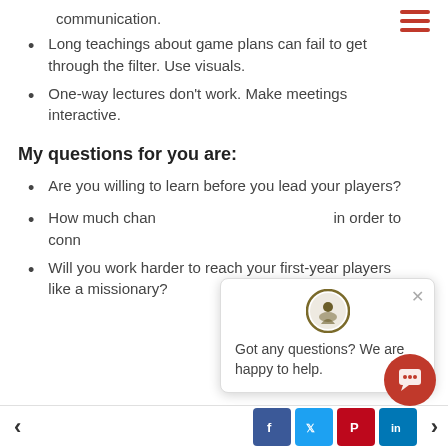communication.
Long teachings about game plans can fail to get through the filter. Use visuals.
One-way lectures don't work. Make meetings interactive.
My questions for you are:
Are you willing to learn before you lead your players?
How much change are you willing to make in order to connect?
Will you work harder to reach your first-year players like a missionary?